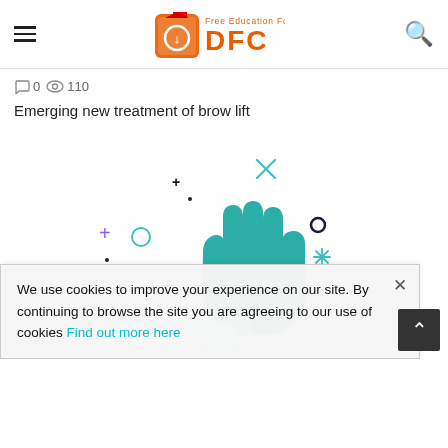DFC - Free Education For All
0  110
Emerging new treatment of brow lift
[Figure (illustration): Decorative illustration of a teal/cyan raised hand with sparkle and geometric decorative elements (plus signs, circles, asterisks) scattered around it on a white background]
We use cookies to improve your experience on our site. By continuing to browse the site you are agreeing to our use of cookies Find out more here
In Movement With Jin Shin Jyutsu